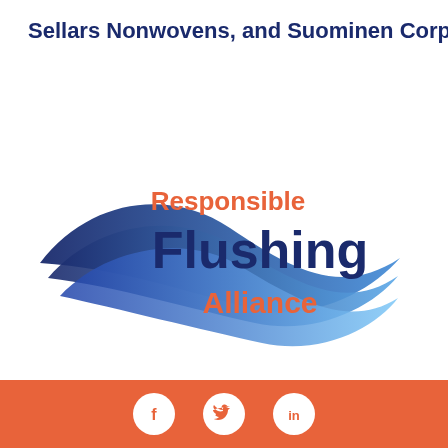Sellars Nonwovens, and Suominen Corp.
[Figure (logo): Responsible Flushing Alliance logo with swoosh wave graphic in blue gradient, 'Responsible' in orange, 'Flushing' in dark navy bold, 'Alliance' in orange]
Footer bar with Facebook, Twitter, and LinkedIn social media icons